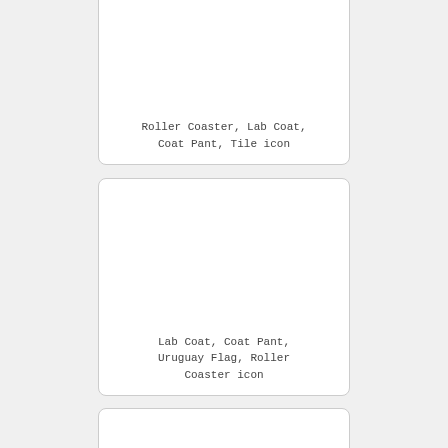[Figure (other): Card with empty image area and caption: Roller Coaster, Lab Coat, Coat Pant, Tile icon]
Roller Coaster, Lab Coat, Coat Pant, Tile icon
[Figure (other): Card with empty image area and caption: Lab Coat, Coat Pant, Uruguay Flag, Roller Coaster icon]
Lab Coat, Coat Pant, Uruguay Flag, Roller Coaster icon
[Figure (other): Card with empty image area, partially visible at bottom]